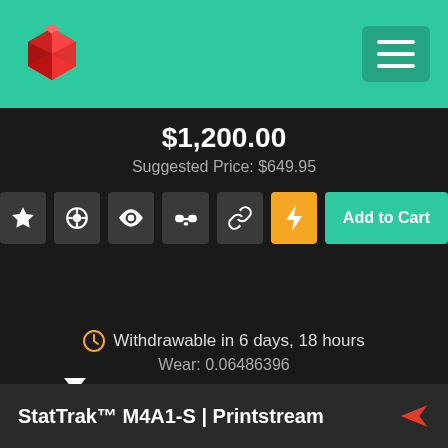$1,200.00
Suggested Price: $649.95
Withdrawable in 6 days, 18 hours
Wear: 0.06486396
StatTrak™ M4A1-S | Printstream